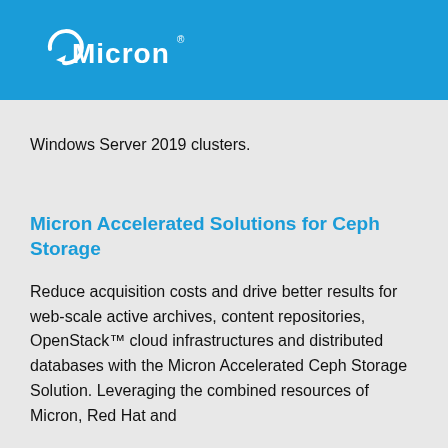[Figure (logo): Micron logo in white on blue background header bar]
Windows Server 2019 clusters.
Micron Accelerated Solutions for Ceph Storage
Reduce acquisition costs and drive better results for web-scale active archives, content repositories, OpenStack™ cloud infrastructures and distributed databases with the Micron Accelerated Ceph Storage Solution. Leveraging the combined resources of Micron, Red Hat and